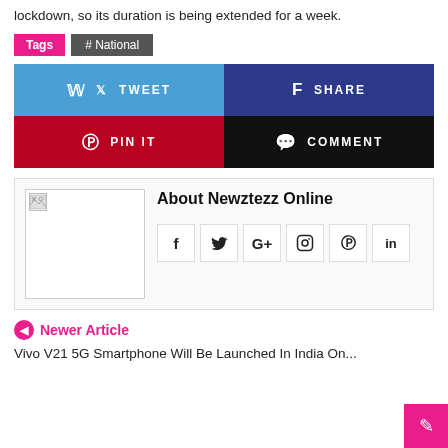lockdown, so its duration is being extended for a week.
Tags  #National
[Figure (infographic): Social share buttons: Tweet (blue), Share (dark blue), Pin It (red), Comment (black)]
[Figure (infographic): About Newztezz Online author box with broken image placeholder and social media icons: f, twitter, G+, instagram, pinterest, linkedin]
Newer Article
Vivo V21 5G Smartphone Will Be Launched In India On...